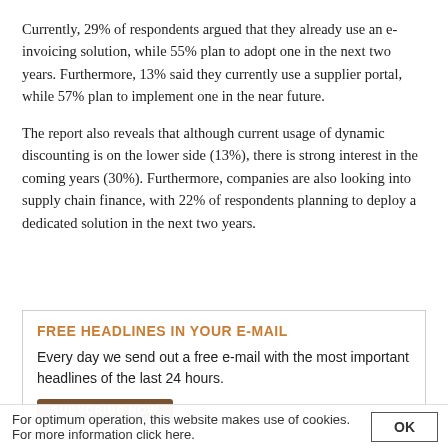Currently, 29% of respondents argued that they already use an e-invoicing solution, while 55% plan to adopt one in the next two years. Furthermore, 13% said they currently use a supplier portal, while 57% plan to implement one in the near future.
The report also reveals that although current usage of dynamic discounting is on the lower side (13%), there is strong interest in the coming years (30%). Furthermore, companies are also looking into supply chain finance, with 22% of respondents planning to deploy a dedicated solution in the next two years.
FREE HEADLINES IN YOUR E-MAIL
Every day we send out a free e-mail with the most important headlines of the last 24 hours.
SUBSCRIBE NOW
For optimum operation, this website makes use of cookies. For more information click here.